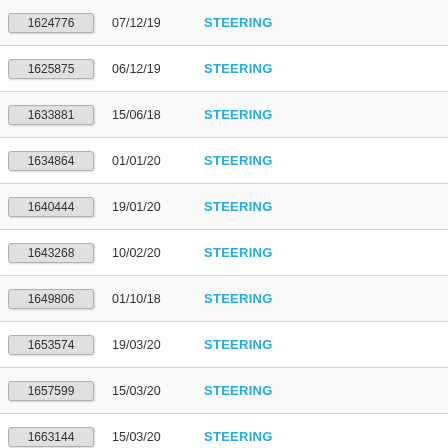| ID | Date | Category |
| --- | --- | --- |
| 1624776 | 07/12/19 | STEERING |
| 1625875 | 06/12/19 | STEERING |
| 1633881 | 15/06/18 | STEERING |
| 1634864 | 01/01/20 | STEERING |
| 1640444 | 19/01/20 | STEERING |
| 1643268 | 10/02/20 | STEERING |
| 1649806 | 01/10/18 | STEERING |
| 1653574 | 19/03/20 | STEERING |
| 1657599 | 15/03/20 | STEERING |
| 1663144 | 15/03/20 | STEERING |
| 1666310 | 02/06/20 | STEERING |
| 1668062 | 01/05/20 | STEERING |